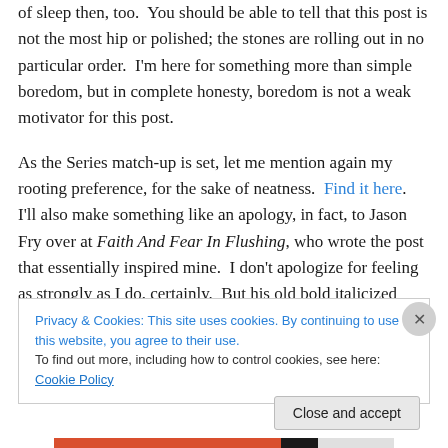of sleep then, too.  You should be able to tell that this post is not the most hip or polished; the stones are rolling out in no particular order.  I'm here for something more than simple boredom, but in complete honesty, boredom is not a weak motivator for this post.
As the Series match-up is set, let me mention again my rooting preference, for the sake of neatness.  Find it here.  I'll also make something like an apology, in fact, to Jason Fry over at Faith And Fear In Flushing, who wrote the post that essentially inspired mine.  I don't apologize for feeling as strongly as I do, certainly.  But his old bold italicized
Privacy & Cookies: This site uses cookies. By continuing to use this website, you agree to their use.
To find out more, including how to control cookies, see here: Cookie Policy
Close and accept